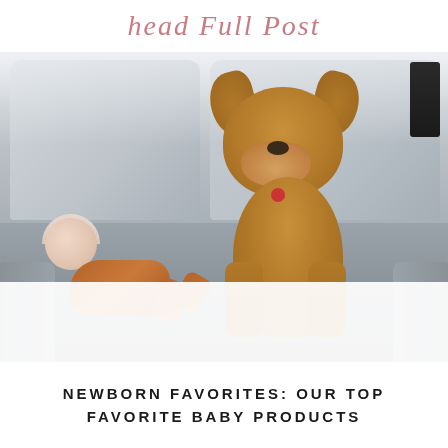head Full Post
[Figure (photo): A newborn baby in a rust-colored onesie and patterned swaddle lying on a grey couch next to a fluffy golden-brown dog sitting upright on the same couch.]
NEWBORN FAVORITES: OUR TOP FAVORITE BABY PRODUCTS